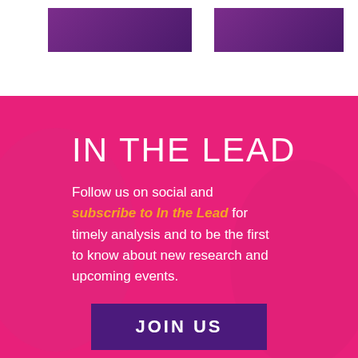[Figure (illustration): Two purple decorative bars at the top of the page on a white background]
[Figure (photo): Pink/magenta background with smiling women overlaid with semi-transparent magenta wash]
IN THE LEAD
Follow us on social and subscribe to In the Lead for timely analysis and to be the first to know about new research and upcoming events.
JOIN US